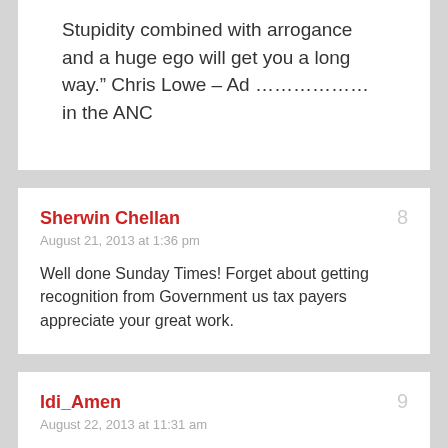Stupidity combined with arrogance and a huge ego will get you a long way.” Chris Lowe – Ad ……………… in the ANC
Sherwin Chellan
August 21, 2013 at 1:36 pm
Well done Sunday Times! Forget about getting recognition from Government us tax payers appreciate your great work.
Idi_Amen
August 22, 2013 at 11:31 am
I agree. But how about The Times doing the same towards Riah Phiyega regarding the hatchet job it did regarding what she said